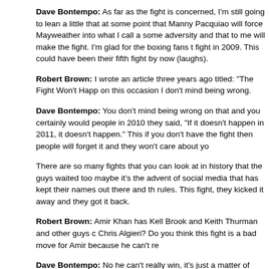Dave Bontempo: As far as the fight is concerned, I'm still going to lean a little that at some point that Manny Pacquiao will force Mayweather into what I call a some adversity and that to me will make the fight. I'm glad for the boxing fans t fight in 2009. This could have been their fifth fight by now (laughs).
Robert Brown: I wrote an article three years ago titled: "The Fight Won't Happ on this occasion I don't mind being wrong.
Dave Bontempo: You don't mind being wrong on that and you certainly would people in 2010 they said, "If it doesn't happen in 2011, it doesn't happen." This if you don't have the fight then people will forget it and they won't care about yo
There are so many fights that you can look at in history that the guys waited too maybe it's the advent of social media that has kept their names out there and th rules. This fight, they kicked it away and they got it back.
Robert Brown: Amir Khan has Kell Brook and Keith Thurman and other guys c Chris Algieri? Do you think this fight is a bad move for Amir because he can't re
Dave Bontempo: No he can't really win, it's just a matter of where they think th Now Algieri has become everybody's favorite opponent because first of all, did be knocked down six times and lose like that, it is a shame. These are not the f clamoring for but sometimes it's just a matter of them not being able to make th
Robert Brown: Mayweather doesn't seem to be loved by Americans as Suga